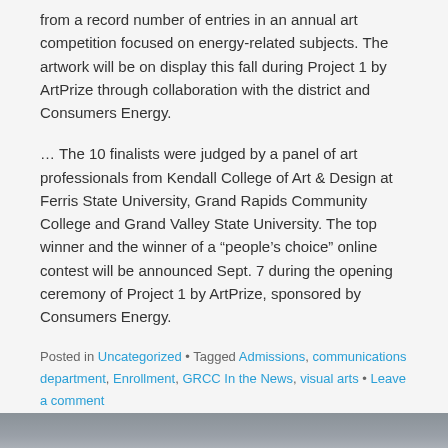from a record number of entries in an annual art competition focused on energy-related subjects. The artwork will be on display this fall during Project 1 by ArtPrize through collaboration with the district and Consumers Energy.
... The 10 finalists were judged by a panel of art professionals from Kendall College of Art & Design at Ferris State University, Grand Rapids Community College and Grand Valley State University. The top winner and the winner of a “people’s choice” online contest will be announced Sept. 7 during the opening ceremony of Project 1 by ArtPrize, sponsored by Consumers Energy.
Posted in Uncategorized • Tagged Admissions, communications department, Enrollment, GRCC In the News, visual arts • Leave a comment
[Figure (photo): A grayscale photograph strip showing an outdoor scene, partially visible.]
College Channel